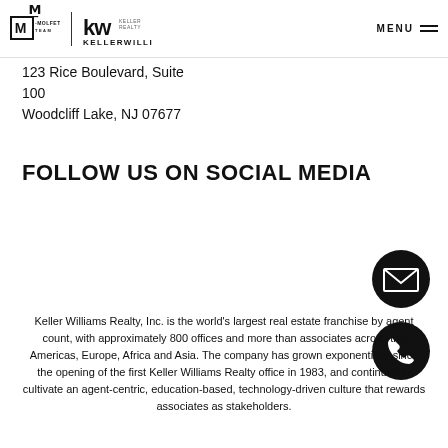Molfetta Team | Keller Williams Realty
123 Rice Boulevard, Suite 100
Woodcliff Lake, NJ 07677
FOLLOW US ON SOCIAL MEDIA
[Figure (other): Black circular email icon button]
[Figure (other): Black circular phone icon button]
Keller Williams Realty, Inc. is the world's largest real estate franchise by agent count, with approximately 800 offices and more than associates across the Americas, Europe, Africa and Asia. The company has grown exponentially since the opening of the first Keller Williams Realty office in 1983, and continues to cultivate an agent-centric, education-based, technology-driven culture that rewards associates as stakeholders.